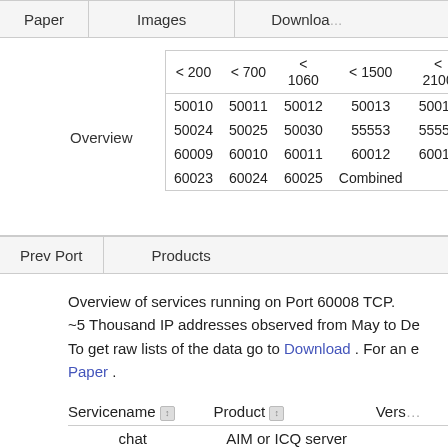Paper    Images    Download
| < 200 | < 700 | < 1060 | < 1500 | < 2100 | < 3600 |
| --- | --- | --- | --- | --- | --- |
| 50010 | 50011 | 50012 | 50013 | 50014 |
| 50024 | 50025 | 50030 | 55553 | 55555 |
| 60009 | 60010 | 60011 | 60012 | 60013 |
| 60023 | 60024 | 60025 | Combined |  |
Prev Port    Products
Overview of services running on Port 60008 TCP.
~5 Thousand IP addresses observed from May to De
To get raw lists of the data go to Download . For an e
Paper .
| Servicename | Product | Vers |
| --- | --- | --- |
| chat | AIM or ICQ server |  |